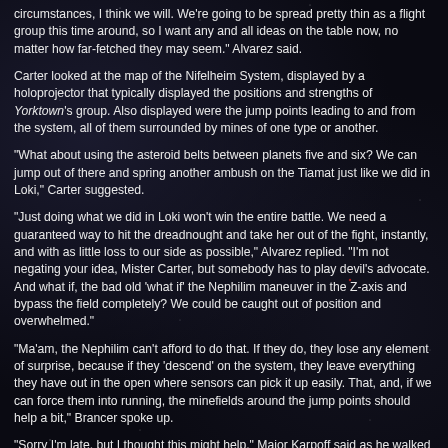circumstances, I think we will. We're going to be spread pretty thin as a flight group this time around, so I want any and all ideas on the table now, no matter how far-fetched they may seem." Alvarez said.
Carter looked at the map of the Nifelheim System, displayed by a holoprojector that typically displayed the positions and strengths of Yorktown's group. Also displayed were the jump points leading to and from the system, all of them surrounded by mines of one type or another.
"What about using the asteroid belts between planets five and six? We can jump out of there and spring another ambush on the Tiamat just like we did in Loki," Carter suggested.
"Just doing what we did in Loki won't win the entire battle. We need a guaranteed way to hit the dreadnought and take her out of the fight, instantly, and with as little loss to our side as possible," Alvarez replied. "I'm not negating your idea, Mister Carter, but somebody has to play devil's advocate. And what if, the bad old 'what if' the Nephilim maneuver in the Z-axis and bypass the field completely? We could be caught out of position and overwhelmed."
"Ma'am, the Nephilim can't afford to do that. If they do, they lose any element of surprise, because if they 'descend' on the system, they leave everything they have out in the open where sensors can pick it up easily. That, and, if we can force them into running, the minefields around the jump points should help a bit," Brancer spoke up.
"Sorry I'm late, but I thought this might help," Major Karpoff said as he walked in, carrying four cups of coffee.